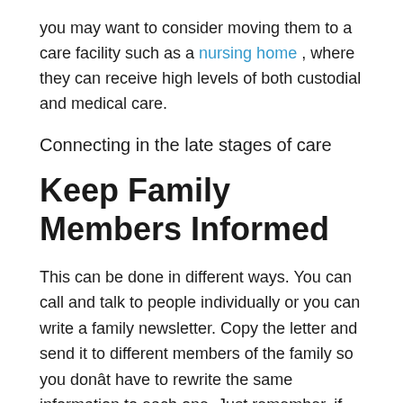you may want to consider moving them to a care facility such as a nursing home , where they can receive high levels of both custodial and medical care.
Connecting in the late stages of care
Keep Family Members Informed
This can be done in different ways. You can call and talk to people individually or you can write a family newsletter. Copy the letter and send it to different members of the family so you donât have to rewrite the same information to each one. Just remember, if you keep the lines of communication with your family and friends open, they will be able to understand more easily what you and your family member are going through. The better they understand, the more willing theyâll be to pitch in and help.